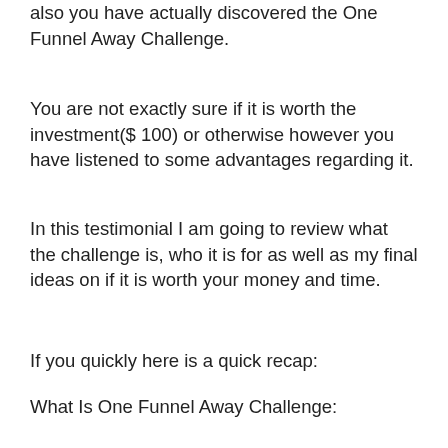also you have actually discovered the One Funnel Away Challenge.
You are not exactly sure if it is worth the investment($ 100) or otherwise however you have listened to some advantages regarding it.
In this testimonial I am going to review what the challenge is, who it is for as well as my final ideas on if it is worth your money and time.
If you quickly here is a quick recap:
What Is One Funnel Away Challenge:
The One Funnel Away Challenge and